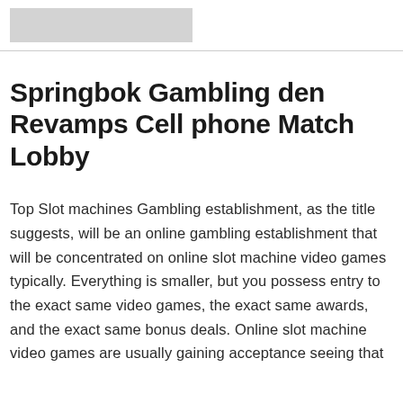[logo placeholder]
Springbok Gambling den Revamps Cell phone Match Lobby
Top Slot machines Gambling establishment, as the title suggests, will be an online gambling establishment that will be concentrated on online slot machine video games typically. Everything is smaller, but you possess entry to the exact same video games, the exact same awards, and the exact same bonus deals. Online slot machine video games are usually gaining acceptance seeing that